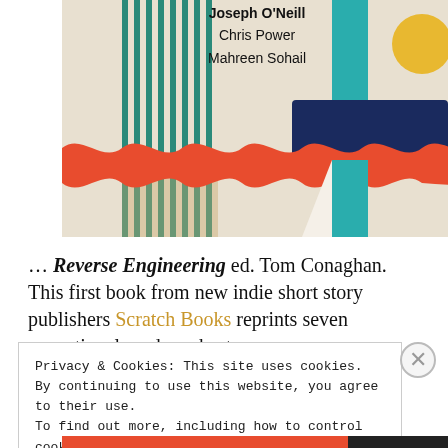[Figure (illustration): Book cover illustration for 'Reverse Engineering' showing abstract geometric design with teal vertical lines/bars, navy blue rectangular shape, red/orange wavy ribbon across the middle, yellow circle, and beige background. Author names visible: Chris Power, Mahreen Sohail.]
… Reverse Engineering ed. Tom Conaghan. This first book from new indie short story publishers Scratch Books reprints seven exceptional modern short
Privacy & Cookies: This site uses cookies. By continuing to use this website, you agree to their use.
To find out more, including how to control cookies, see here: Cookie Policy
Close and accept